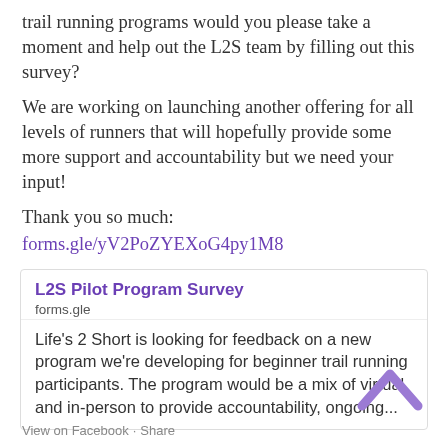trail running programs would you please take a moment and help out the L2S team by filling out this survey?
We are working on launching another offering for all levels of runners that will hopefully provide some more support and accountability but we need your input!
Thank you so much:
forms.gle/yV2PoZYEXoG4py1M8
[Figure (screenshot): Link preview card for 'L2S Pilot Program Survey' from forms.gle. Card shows bold purple title, domain 'forms.gle', and body text: Life's 2 Short is looking for feedback on a new program we're developing for beginner trail running participants. The program would be a mix of virtual and in-person to provide accountability, ongoing...]
View on Facebook · Share